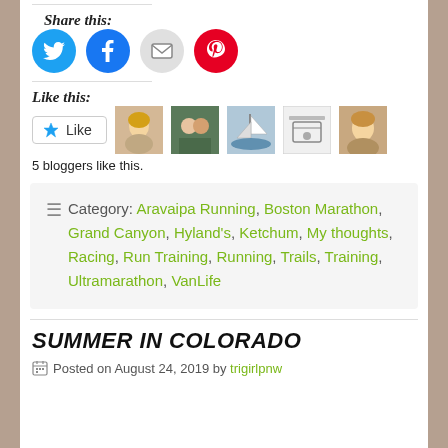Share this:
[Figure (infographic): Four social share buttons: Twitter (blue circle), Facebook (blue circle), Email (gray circle), Pinterest (red circle)]
Like this:
[Figure (infographic): Like button with star icon followed by 5 blogger avatar thumbnails]
5 bloggers like this.
Category: Aravaipa Running, Boston Marathon, Grand Canyon, Hyland's, Ketchum, My thoughts, Racing, Run Training, Running, Trails, Training, Ultramarathon, VanLife
SUMMER IN COLORADO
Posted on August 24, 2019 by trigirlpnw